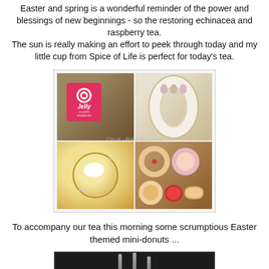Easter and spring is a wonderful reminder of the power and blessings of new beginnings - so the restoring echinacea and raspberry tea.
The sun is really making an effort to peek through today and my little cup from Spice of Life is perfect for today's tea.
[Figure (photo): Four-panel photo collage of Easter themed mini-donuts from 'Jelly Modern Doughnuts'. Top left shows a pink Jelly Modern Doughnuts box/card. Top right shows a coconut-covered donut ring decorated with pastel candy eggs. Bottom left shows a sugar donut with cream topping. Bottom right shows an assortment of mini-donuts. Watermark reads 'Celia H. - HighHeeledLife.com']
To accompany our tea this morning some scrumptious Easter themed mini-donuts ...
[Figure (photo): Partial image at bottom of page showing dark background with silhouettes, likely of utensils or Easter items.]